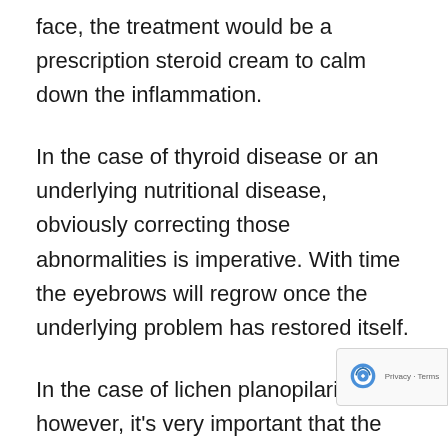face, the treatment would be a prescription steroid cream to calm down the inflammation.
In the case of thyroid disease or an underlying nutritional disease, obviously correcting those abnormalities is imperative. With time the eyebrows will regrow once the underlying problem has restored itself.
In the case of lichen planopilaris, however, it's very important that the disease be diagnosed as early as possible so that treatment can be initiated. If treatment is initiated early then that disease p will be halted and will prevent the ongoing sca